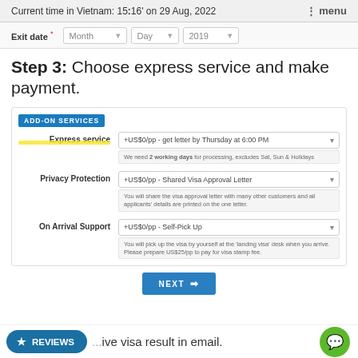Current time in Vietnam: 15:16' on 29 Aug, 2022  ⋮ menu
Exit date * Month Day 2019
Step 3: Choose express service and make payment.
ADD-ON SERVICES
Express service  +US$0/pp - get letter by Thursday at 6:00 PM
We need 2 working days for processing, excludes Sat, Sun & Holidays
Privacy Protection  +US$0/pp - Shared Visa Approval Letter
You will share the visa approval letter with many other customers and all applicants' details are printed on the one letter.
On Arrival Support  +US$0/pp - Self-Pick Up
You will pick up the visa by yourself at the 'landing visa' desk when you arrive. Please prepare US$25/pp to pay for visa stamp fee.
NEXT →
★ REVIEWS
...ive visa result in email.